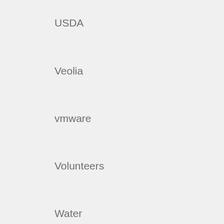USDA
Veolia
vmware
Volunteers
Water
Water Synergy Project
wetland
wetlands
World
World Resources Institute